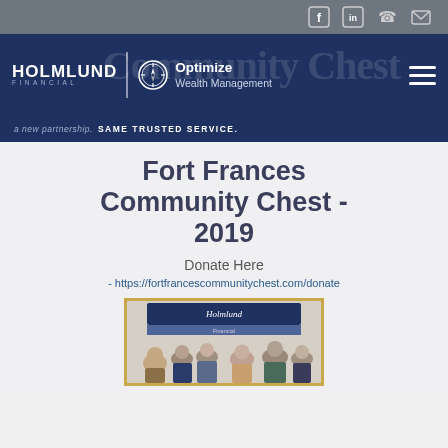Social icons: Facebook, LinkedIn, Phone, Email
[Figure (logo): Holmlund Financial | Optimize Wealth Management logo with navigation header on dark blue background, with watermark text 'Community Chest' behind]
a new partnership. SAME TRUSTED SERVICE.
Fort Frances Community Chest - 2019
Donate Here
- https://fortfrancescommunitychest.com/donate
[Figure (photo): Group photo of Holmlund Financial staff in front of a Holmlund Financial banner]